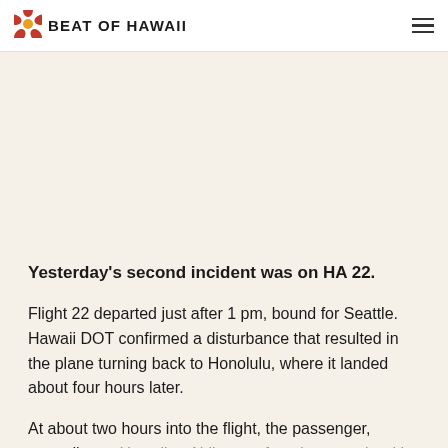BEAT OF HAWAII
Yesterday's second incident was on HA 22.
Flight 22 departed just after 1 pm, bound for Seattle. Hawaii DOT confirmed a disturbance that resulted in the plane turning back to Honolulu, where it landed about four hours later.
At about two hours into the flight, the passenger, according to Hawaiian Airlines, refused to comply with the federal mask mandate. Flight attendants, together with a pilot who was not actively working the flight, were able to get the situation under